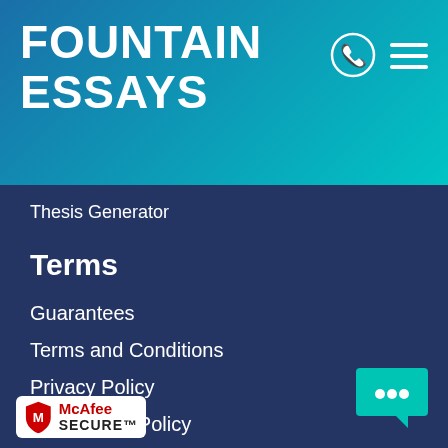FOUNTAIN ESSAYS
Thesis Generator
Terms
Guarantees
Terms and Conditions
Privacy Policy
The Cookie Policy
Our Revision Policy
Plagiarism-Free Guarantee
Money back guarantee
[Figure (logo): McAfee SECURE badge — red shield logo with white M, text McAfee SECURE in red and black on white background]
[Figure (illustration): Teal chat bubble with three dots indicating live chat widget]